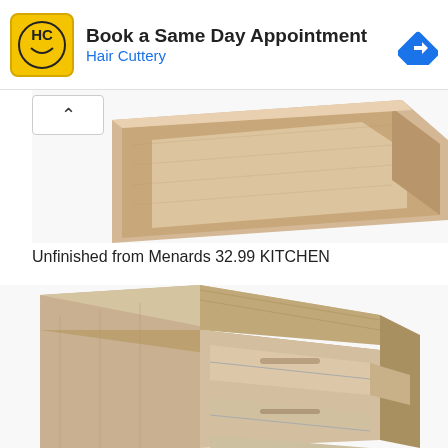[Figure (screenshot): Advertisement banner for Hair Cuttery: 'Book a Same Day Appointment' with Hair Cuttery logo (HC in yellow square) and blue navigation icon on the right]
[Figure (photo): Unfinished wood upper kitchen cabinet, natural pine/maple color, shown from below at an angle against white background]
Unfinished from Menards 32.99 KITCHEN
[Figure (photo): Unfinished wood base kitchen cabinet with open top drawer and two lower drawers visible, natural wood grain, shown at an angle]